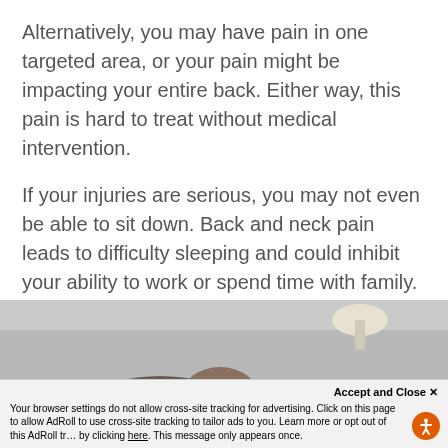Alternatively, you may have pain in one targeted area, or your pain might be impacting your entire back. Either way, this pain is hard to treat without medical intervention.
If your injuries are serious, you may not even be able to sit down. Back and neck pain leads to difficulty sleeping and could inhibit your ability to work or spend time with family.
[Figure (photo): Partial view of a person lying down or hunched over, with a lamp visible in the background. Image is cropped showing only the top portion.]
Accept and Close ✕
Your browser settings do not allow cross-site tracking for advertising. Click on this page to allow AdRoll to use cross-site tracking to tailor ads to you. Learn more or opt out of this AdRoll tracking by clicking here. This message only appears once.